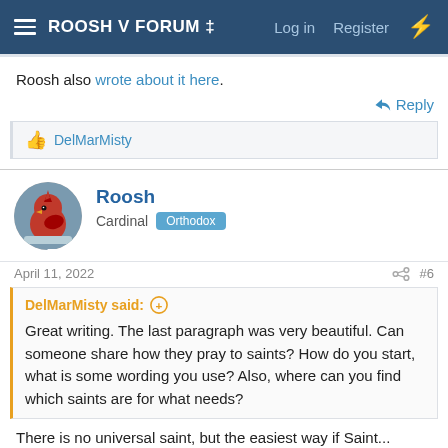ROOSH V FORUM ‡  Log in  Register
Roosh also wrote about it here.
👍 DelMarMisty
Roosh
Cardinal  Orthodox
April 11, 2022  #6
DelMarMisty said: ⊕
Great writing. The last paragraph was very beautiful. Can someone share how they pray to saints? How do you start, what is some wording you use? Also, where can you find which saints are for what needs?
There is no universal saint, but the easiest way if Saint...